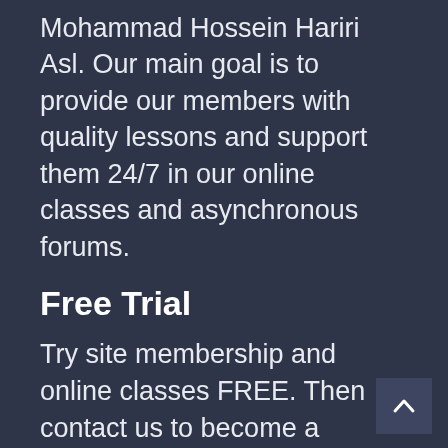Mohammad Hossein Hariri Asl. Our main goal is to provide our members with quality lessons and support them 24/7 in our online classes and asynchronous forums.
Free Trial
Try site membership and online classes FREE. Then contact us to become a registered student.
Membership
About Us